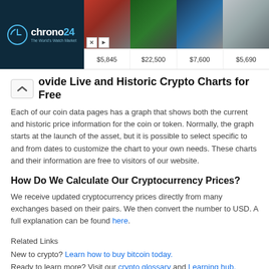[Figure (other): Chrono24 advertisement banner showing luxury watches with prices $5,845, $22,500, $7,600, $5,690]
...ovide Live and Historic Crypto Charts for Free
Each of our coin data pages has a graph that shows both the current and historic price information for the coin or token. Normally, the graph starts at the launch of the asset, but it is possible to select specific to and from dates to customize the chart to your own needs. These charts and their information are free to visitors of our website.
How Do We Calculate Our Cryptocurrency Prices?
We receive updated cryptocurrency prices directly from many exchanges based on their pairs. We then convert the number to USD. A full explanation can be found here.
Related Links
New to crypto? Learn how to buy bitcoin today.
Ready to learn more? Visit our crypto glossary and Learning hub.
Want to look up a transaction? Visit our blockchain explorer.